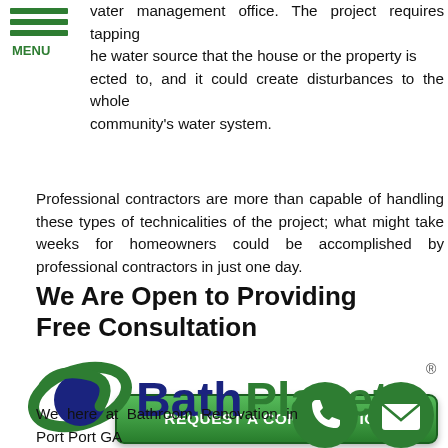MENU
vater management office. The project requires tapping he water source that the house or the property is ected to, and it could create disturbances to the whole community's water system.
Professional contractors are more than capable of handling these types of technicalities of the project; what might take weeks for homeowners could be accomplished by professional contractors in just one day.
[Figure (other): Green rounded rectangle button with text REQUEST A CONSULTATION in white bold letters]
We Are Open to Providing Free Consultation
[Figure (logo): BathPlanet logo with green swoosh/orbit graphic and Bath in dark navy and Planet in green text, with registered trademark symbol]
We here at Bathroom Renovation in Port Port GA